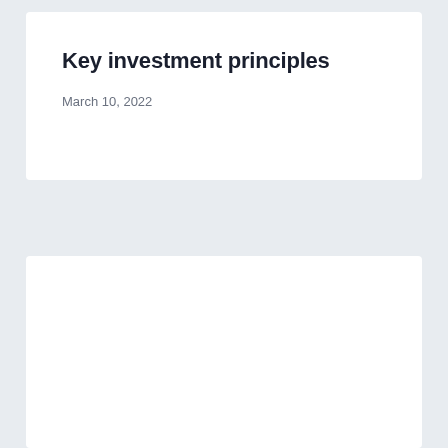Key investment principles
March 10, 2022